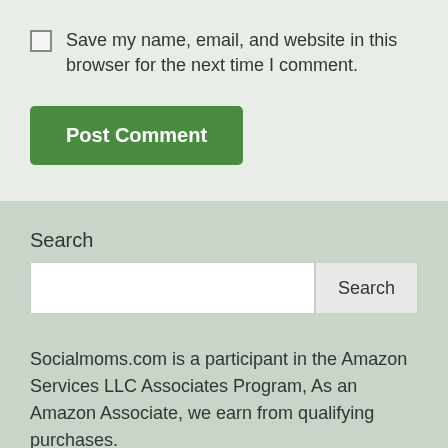Save my name, email, and website in this browser for the next time I comment.
Post Comment
Search
Socialmoms.com is a participant in the Amazon Services LLC Associates Program, As an Amazon Associate, we earn from qualifying purchases.